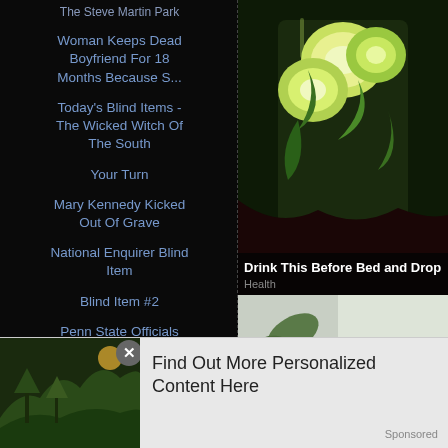The Steve Martin Park
Woman Keeps Dead Boyfriend For 18 Months Because S...
Today's Blind Items - The Wicked Witch Of The South
Your Turn
Mary Kennedy Kicked Out Of Grave
National Enquirer Blind Item
Blind Item #2
Penn State Officials Treated Abuse Victims In "Cal...
National Enquirer Blind Item
En...
[Figure (photo): Photo of a glass filled with sliced cucumber and green leaves, a healthy drink]
Drink This Before Bed and Drop B
Health
[Figure (photo): Photo of a plant with green leaves against a light grey background]
Find Out More Personalized Content Here
Sponsored